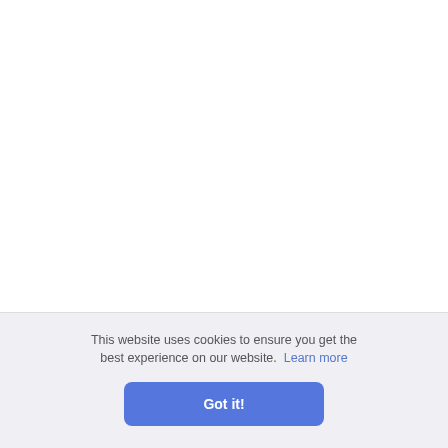told an Austrian general that he had Charles into Bohemia for fear the North Austria. "Had I pursued immediately, Waterloo, the hostile army crowded on t
"Labor is my element," he remarked dissolution. "I have found the limit of limit of my capacity for work." This wa well," wrote Berthier on the twenty-fo exertion of mind and body." Once mor and high spirits seem natural to comme order from chaos, and had stricken a po one portion to the right-about in utter c
g at Eckm s of the s bensberg a skirmis
nportant were gone. She had lost fifty thousand
This website uses cookies to ensure you get the best experience on our website. Learn more
Got it!